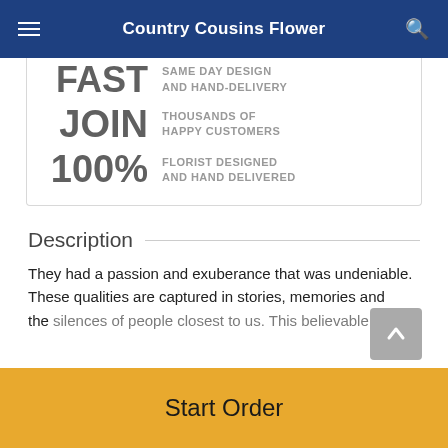Country Cousins Flower
[Figure (infographic): Promotional infographic panel with large bold keywords and short descriptions: FAST - SAME DAY DESIGN AND HAND-DELIVERY; JOIN - THOUSANDS OF HAPPY CUSTOMERS; 100% - FLORIST DESIGNED AND HAND DELIVERED]
Description
They had a passion and exuberance that was undeniable. These qualities are captured in stories, memories and the silences of people closest to us. This believable of
[Figure (other): Scroll to top button with upward arrow]
Start Order